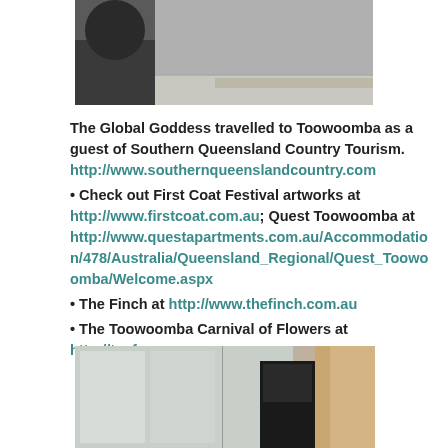[Figure (photo): Top partial photo showing dark surface with light/concrete background]
The Global Goddess travelled to Toowoomba as a guest of Southern Queensland Country Tourism. http://www.southernqueenslandcountry.com
• Check out First Coat Festival artworks at http://www.firstcoat.com.au; Quest Toowoomba at http://www.questapartments.com.au/Accommodation/478/Australia/Queensland_Regional/Quest_Toowoomba/Welcome.aspx
• The Finch at http://www.thefinch.com.au
• The Toowoomba Carnival of Flowers at http://tcof.com.au
[Figure (photo): Bottom partial photo showing window panes and dark furniture/chair]